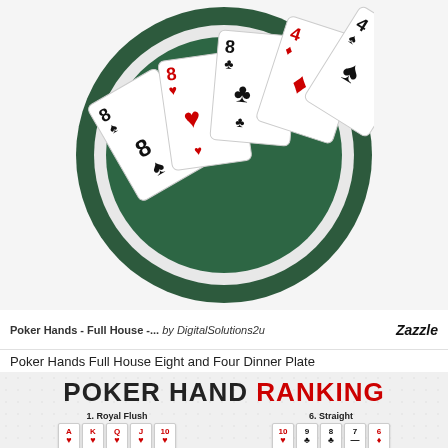[Figure (photo): A round dinner plate with a green felt poker table design, featuring playing cards showing a Full House hand with eights and fours (8 of spades, 8 of hearts, 8 of clubs, 4 of diamonds, 4 of spades arranged in a fan).]
Poker Hands - Full House -... by DigitalSolutions2u     Zazzle
Poker Hands Full House Eight and Four Dinner Plate
[Figure (infographic): Poker Hand Ranking infographic with title 'POKER HAND RANKING' in black and red. Shows hand 1. Royal Flush with cards A K Q J 10 of hearts, and 6. Straight with cards 10 9 8 7 6.]
POKER HAND RANKING
1. Royal Flush
6. Straight